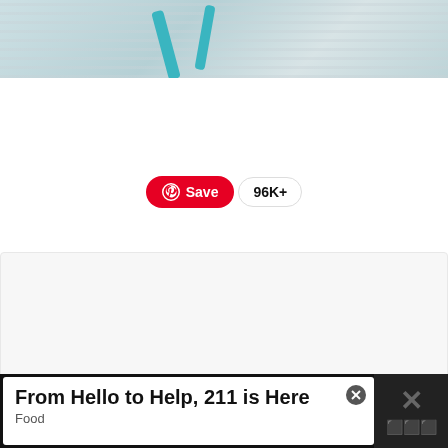[Figure (photo): Top portion of a photo showing baby items (diapers/stuffed animals) with teal/blue ribbon decoration on a light gray/blue striped background]
[Figure (screenshot): Pinterest Save button (red) with Pinterest logo icon and text 'Save', next to a count badge showing '96K+']
[Figure (screenshot): Large white/light gray content card area with heart/like button (teal circle, 89 likes) and share button on the right side, and a 'WHAT'S NEXT' panel showing thumbnail and text 'Ribbon Bow Tying...']
[Figure (screenshot): Advertisement banner at bottom: dark background with white ad box reading 'From Hello to Help, 211 is Here' with 'Food' subtext, and an X icon on the right]